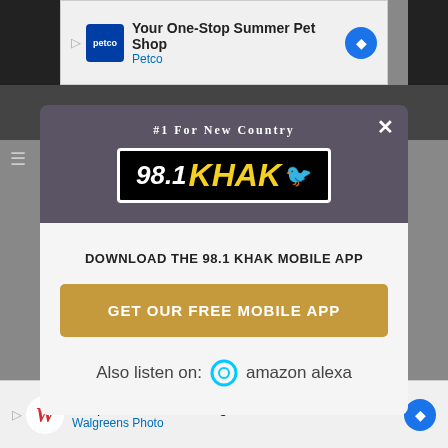[Figure (screenshot): Petco advertisement banner: 'Your One-Stop Summer Pet Shop - Petco' with Petco logo and navigation arrow icon]
[Figure (screenshot): 98.1 KHAK radio station modal popup with dark purple header showing '#1 FOR NEW COUNTRY' tagline and station logo, close button X in top right]
DOWNLOAD THE 98.1 KHAK MOBILE APP
GET OUR FREE MOBILE APP
Also listen on:  amazon alexa
[Figure (screenshot): Walgreens advertisement banner: 'Shop Pain Relief at Walgreens - Walgreens Photo' with Walgreens logo and navigation arrow icon]